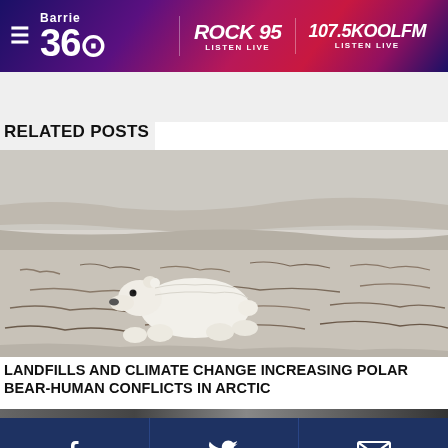Barrie 360 | ROCK 95 LISTEN LIVE | 107.5KOOLFM LISTEN LIVE
RELATED POSTS
[Figure (photo): A polar bear walking across a snowy Arctic tundra landscape]
LANDFILLS AND CLIMATE CHANGE INCREASING POLAR BEAR-HUMAN CONFLICTS IN ARCTIC
[Figure (infographic): Social sharing footer bar with Facebook, Twitter, and email icons on dark blue background]